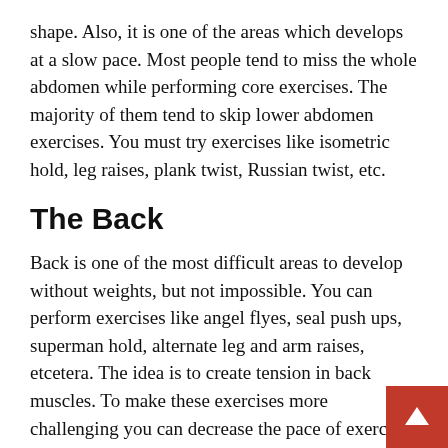shape. Also, it is one of the areas which develops at a slow pace. Most people tend to miss the whole abdomen while performing core exercises. The majority of them tend to skip lower abdomen exercises. You must try exercises like isometric hold, leg raises, plank twist, Russian twist, etc.
The Back
Back is one of the most difficult areas to develop without weights, but not impossible. You can perform exercises like angel flyes, seal push ups, superman hold, alternate leg and arm raises, etcetera. The idea is to create tension in back muscles. To make these exercises more challenging you can decrease the pace of exercise and increase the time under tension.